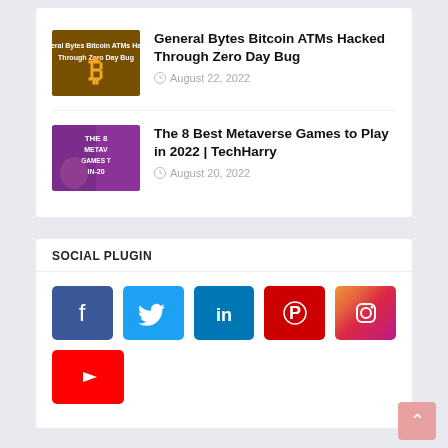[Figure (screenshot): Thumbnail image for Bitcoin ATMs article - dark background with Bitcoin logo]
General Bytes Bitcoin ATMs Hacked Through Zero Day Bug
August 22, 2022
[Figure (screenshot): Thumbnail image for Metaverse Games article - purple background with game character]
The 8 Best Metaverse Games to Play in 2022 | TechHarry
August 20, 2022
SOCIAL PLUGIN
[Figure (infographic): Social media plugin buttons: Facebook, Twitter, LinkedIn, Pinterest, Instagram, YouTube]